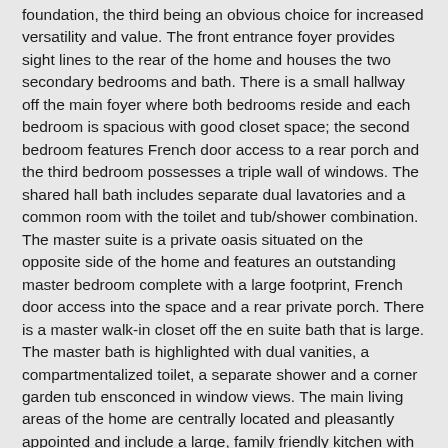foundation, the third being an obvious choice for increased versatility and value. The front entrance foyer provides sight lines to the rear of the home and houses the two secondary bedrooms and bath. There is a small hallway off the main foyer where both bedrooms reside and each bedroom is spacious with good closet space; the second bedroom features French door access to a rear porch and the third bedroom possesses a triple wall of windows. The shared hall bath includes separate dual lavatories and a common room with the toilet and tub/shower combination. The master suite is a private oasis situated on the opposite side of the home and features an outstanding master bedroom complete with a large footprint, French door access into the space and a rear private porch. There is a master walk-in closet off the en suite bath that is large. The master bath is highlighted with dual vanities, a compartmentalized toilet, a separate shower and a corner garden tub ensconced in window views. The main living areas of the home are centrally located and pleasantly appointed and include a large, family friendly kitchen with a center island. The island is enormous with double sinks, lots of work/prep space and a raised bar for casual dining. There is a lodge room which measures in excess of 20'x17' and is highlighted with a